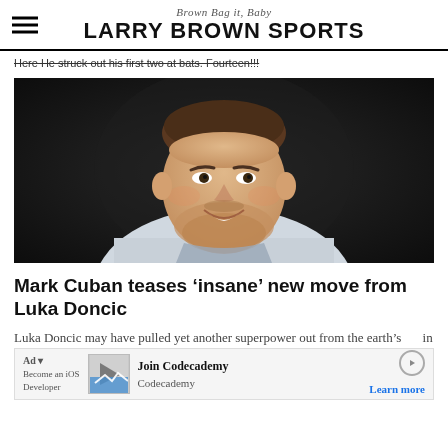Brown Bag it, Baby
LARRY BROWN SPORTS
Here He struck out his first two at bats. Fourteen!
[Figure (photo): Luka Doncic smiling, wearing a white jersey, dark background]
Mark Cuban teases ‘insane’ new move from Luka Doncic
Luka Doncic may have pulled yet another superpower out from the earth’s ... in an inte... nd